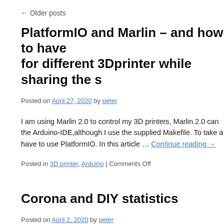← Older posts
PlatformIO and Marlin – and how to have for different 3Dprinter while sharing the s
Posted on April 27, 2020 by peter
I am using Marlin 2.0 to control my 3D printers, Marlin 2.0 can the Arduino-IDE,although I use the supplied Makefile. To take a have to use PlatformIO. In this article … Continue reading →
Posted in 3D printer, Arduino | Comments Off
Corona and DIY statistics
Posted on April 2, 2020 by peter
It is hard to know who to believe these days. Too many headlin relevant to me. But you do not have to rely on CNN or Danmab for you, … Continue reading →